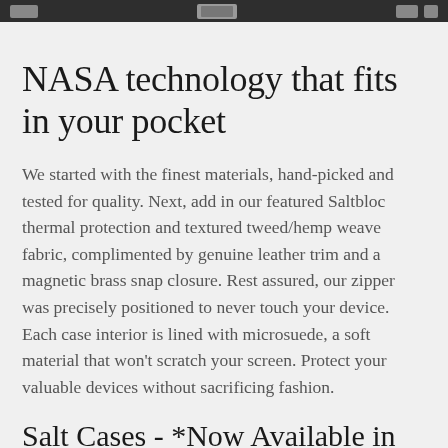NASA technology that fits in your pocket
We started with the finest materials, hand-picked and tested for quality. Next, add in our featured Saltbloc thermal protection and textured tweed/hemp weave fabric, complimented by genuine leather trim and a magnetic brass snap closure. Rest assured, our zipper was precisely positioned to never touch your device. Each case interior is lined with microsuede, a soft material that won't scratch your screen. Protect your valuable devices without sacrificing fashion.
Salt Cases - *Now Available in Grey Cross-weave with band
Our best tip: our product is for...